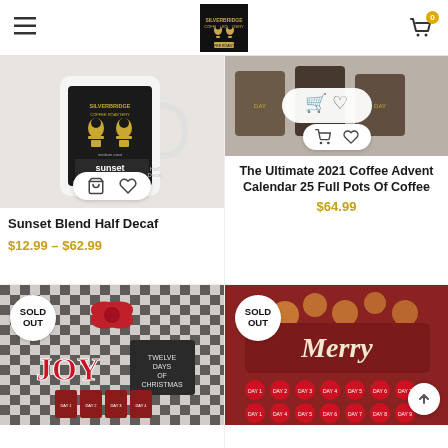SilverBridge Coffee Roastery — navigation header with logo and cart
[Figure (photo): Product photo of Sunset Blend Half Decaf coffee bag in white mug, showing medium roast label]
Sunset Blend Half Decaf
$12.99 – $62.99
[Figure (photo): Product photo of The Ultimate 2021 Coffee Advent Calendar 25 Full Pots Of Coffee on stone background]
The Ultimate 2021 Coffee Advent Calendar 25 Full Pots Of Coffee
$64.99
[Figure (photo): Product photo labeled SOLD OUT — JOY sign with coffee advent gift set on plaid background with Twelve Days of Christmas chalkboard]
[Figure (photo): Product photo labeled SOLD OUT — Merry marquee sign with red numbered day circles coffee advent calendar]